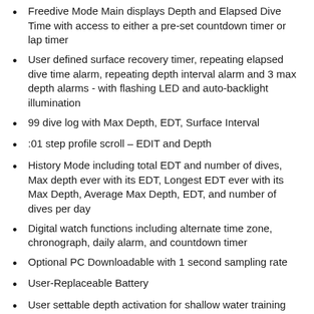Freedive Mode Main displays Depth and Elapsed Dive Time with access to either a pre-set countdown timer or lap timer
User defined surface recovery timer, repeating elapsed dive time alarm, repeating depth interval alarm and 3 max depth alarms - with flashing LED and auto-backlight illumination
99 dive log with Max Depth, EDT, Surface Interval
:01 step profile scroll – EDIT and Depth
History Mode including total EDT and number of dives, Max depth ever with its EDT, Longest EDT ever with its Max Depth, Average Max Depth, EDT, and number of dives per day
Digital watch functions including alternate time zone, chronograph, daily alarm, and countdown timer
Optional PC Downloadable with 1 second sampling rate
User-Replaceable Battery
User settable depth activation for shallow water training
User updateable firmware - with optional cable